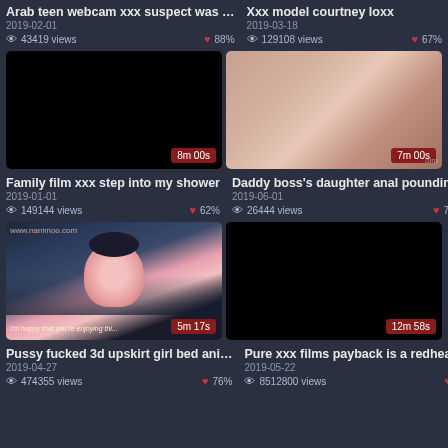Arab teen webcam xxx suspect was …
Xxx model courtney loxx
2019-02-01
2019-03-18
43419 views  88%
129108 views  67%
[Figure (photo): Black thumbnail with duration badge 8m 00s]
[Figure (photo): Close-up skin tone image with duration badge 7m 00s and olm watermark]
Family film xxx step into my shower
Daddy boss's daughter anal poundin…
2019-01-01
2019-06-01
149144 views  62%
26444 views  78%
[Figure (photo): Anime style thumbnail with duration badge 5m 17s and subtitle text]
[Figure (photo): Black thumbnail with duration badge 12m 58s]
Pussy fucked 3d upskirt girl bed ani…
Pure xxx films payback is a redhead …
2019-04-27
2019-05-22
474355 views  76%
8512800 views  63%